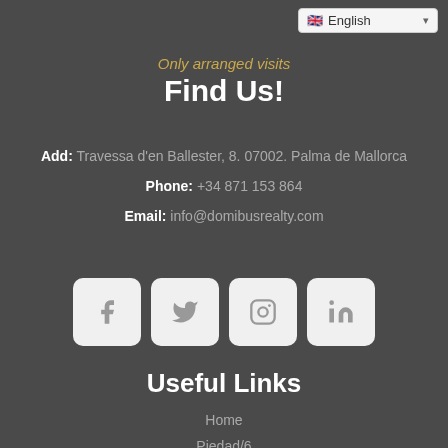English
Only arranged visits
Find Us!
Add: Travessa d'en Ballester, 8. 07002. Palma de Mallorca
Phone: +34 871 153 864
Email: info@domibusrealty.com
[Figure (other): Social media icons: Facebook, Twitter, Instagram, LinkedIn]
Useful Links
Home
Piedad/6
Contact